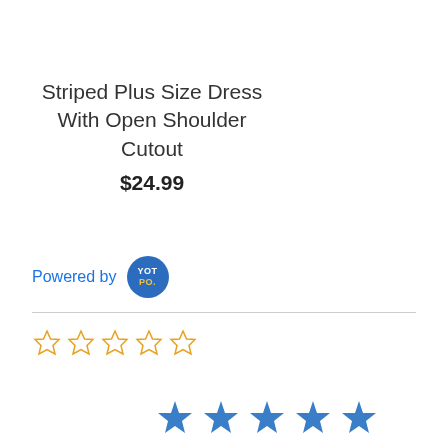Striped Plus Size Dress With Open Shoulder Cutout
$24.99
Powered by YOTPO.
[Figure (other): Five empty star rating icons in golden/yellow outline style]
[Figure (other): Five filled blue star rating icons]